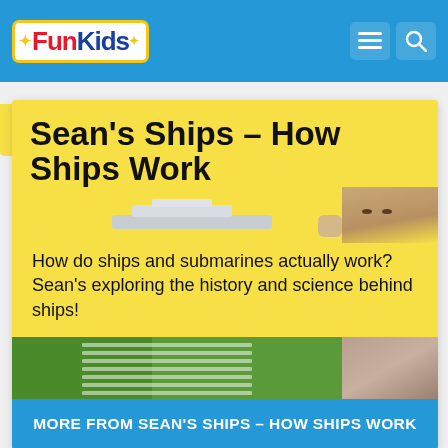Fun Kids
Sean’s Ships – How Ships Work
[Figure (illustration): Yellow card with image of ships/submarines and a person, serving as a promotional card for the Sean's Ships podcast content]
How do ships and submarines actually work? Sean’s exploring the history and science behind ships!
MORE FROM SEAN’S SHIPS – HOW SHIPS WORK